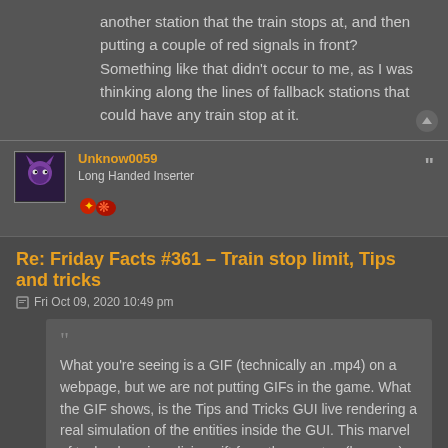another station that the train stops at, and then putting a couple of red signals in front? Something like that didn't occur to me, as I was thinking along the lines of fallback stations that could have any train stop at it.
Unknow0059
Long Handed Inserter
Re: Friday Facts #361 – Train stop limit, Tips and tricks
Fri Oct 09, 2020 10:49 pm
What you're seeing is a GIF (technically an .mp4) on a webpage, but we are not putting GIFs in the game. What the GIF shows, is the Tips and Tricks GUI live rendering a real simulation of the entities inside the GUI. This marvel of technology is a divine gift from the very top (kovarex).
This is nothing short of genius.